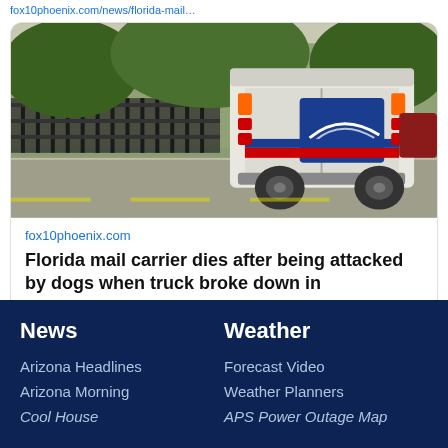fox10phoenix.com/news/florida-mail…
[Figure (photo): USPS mail truck driving on a street in a neighborhood, viewed from behind, with trees and a fence in background]
fox10phoenix.com
Florida mail carrier dies after being attacked by dogs when truck broke down in neighborhood
News
Arizona Headlines
Arizona Morning
Cool House
Weather
Forecast Video
Weather Planners
APS Power Outage Map